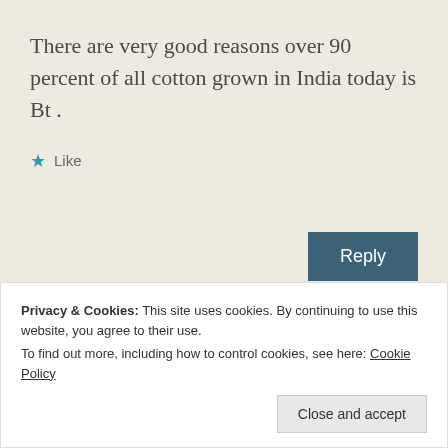There are very good reasons over 90 percent of all cotton grown in India today is Bt .
★ Like
Reply
Robert Wager
Privacy & Cookies: This site uses cookies. By continuing to use this website, you agree to their use.
To find out more, including how to control cookies, see here: Cookie Policy
Close and accept
Oops sorry, something went wrong